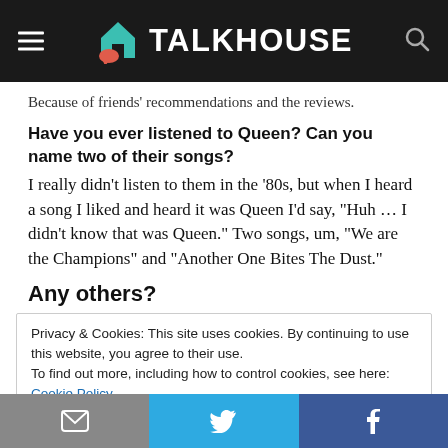TALKHOUSE
Because of friends' recommendations and the reviews.
Have you ever listened to Queen? Can you name two of their songs?
I really didn't listen to them in the '80s, but when I heard a song I liked and heard it was Queen I'd say, "Huh … I didn't know that was Queen." Two songs, um, "We are the Champions" and "Another One Bites The Dust."
Any others?
Privacy & Cookies: This site uses cookies. By continuing to use this website, you agree to their use.
To find out more, including how to control cookies, see here: Cookie Policy